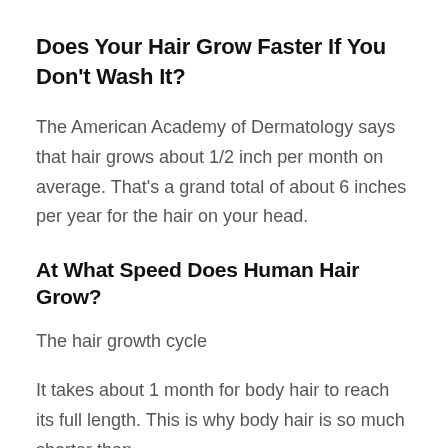Does Your Hair Grow Faster If You Don't Wash It?
The American Academy of Dermatology says that hair grows about 1/2 inch per month on average. That's a grand total of about 6 inches per year for the hair on your head.
At What Speed Does Human Hair Grow?
The hair growth cycle
It takes about 1 month for body hair to reach its full length. This is why body hair is so much shorter than